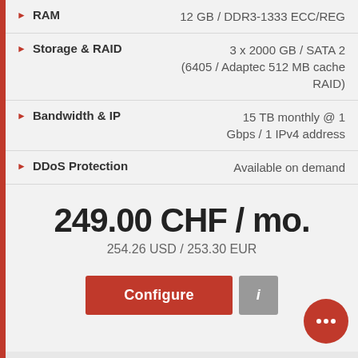RAM: 12 GB / DDR3-1333 ECC/REG
Storage & RAID: 3 x 2000 GB / SATA 2 (6405 / Adaptec 512 MB cache RAID)
Bandwidth & IP: 15 TB monthly @ 1 Gbps / 1 IPv4 address
DDoS Protection: Available on demand
249.00 CHF / mo.
254.26 USD / 253.30 EUR
Configure
i